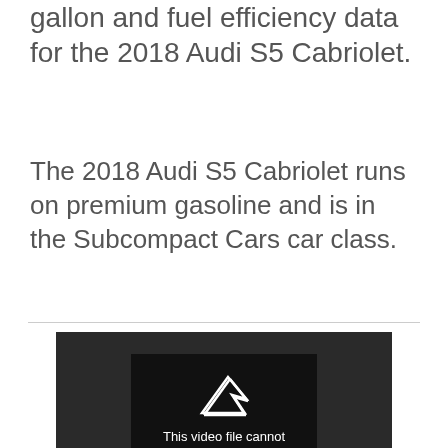gallon and fuel efficiency data for the 2018 Audi S5 Cabriolet.
The 2018 Audi S5 Cabriolet runs on premium gasoline and is in the Subcompact Cars car class.
[Figure (other): Video player showing error message: 'This video file cannot be played. (Error Code: 224003)' with a play icon on dark background.]